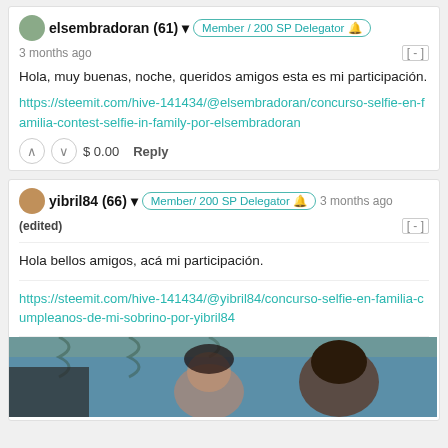elsembradoran (61) ▾ Member / 200 SP Delegator 🔔 3 months ago [-]
Hola, muy buenas, noche, queridos amigos esta es mi participación.
https://steemit.com/hive-141434/@elsembradoran/concurso-selfie-en-familia-contest-selfie-in-family-por-elsembradoran
$ 0.00   Reply
yibril84 (66) ▾ Member/ 200 SP Delegator 🔔 3 months ago (edited) [-]
Hola bellos amigos, acá mi participación.
https://steemit.com/hive-141434/@yibril84/concurso-selfie-en-familia-cumpleanos-de-mi-sobrino-por-yibril84
[Figure (photo): Partial photo of people, appears to be a family photo with blue background and curtains visible]